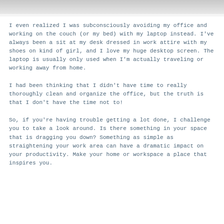[Figure (photo): Partial image strip at the top of the page, showing a light gray/white blurred desk or office surface]
I even realized I was subconsciously avoiding my office and working on the couch (or my bed) with my laptop instead. I've always been a sit at my desk dressed in work attire with my shoes on kind of girl, and I love my huge desktop screen. The laptop is usually only used when I'm actually traveling or working away from home.
I had been thinking that I didn't have time to really thoroughly clean and organize the office, but the truth is that I don't have the time not to!
So, if you're having trouble getting a lot done, I challenge you to take a look around. Is there something in your space that is dragging you down? Something as simple as straightening your work area can have a dramatic impact on your productivity. Make your home or workspace a place that inspires you.